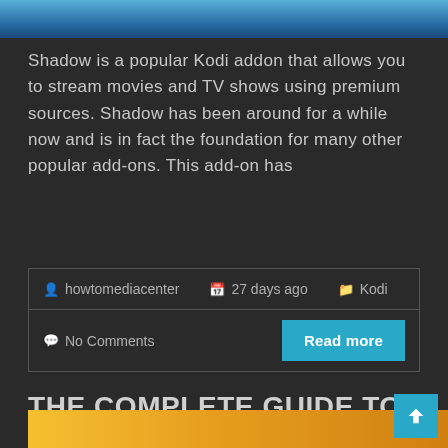[Figure (photo): Top banner image with blue gradient background]
Shadow is a popular Kodi addon that allows you to stream movies and TV shows using premium sources. Shadow has been around for a while now and is in fact the foundation for many other popular add-ons. This add-on has
howtomediacenter  27 days ago  Kodi  No Comments  Read more
THE COMPLETE GUIDE TO ASGARD ON KODI [AUGUST 2022]
[Figure (photo): Bottom banner image with orange/gold gradient background]